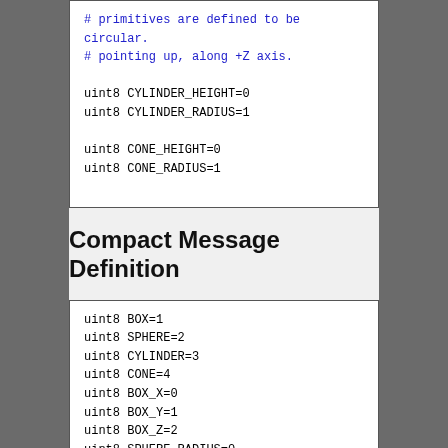# primitives are defined to be circular.
# pointing up, along +Z axis.

uint8 CYLINDER_HEIGHT=0
uint8 CYLINDER_RADIUS=1

uint8 CONE_HEIGHT=0
uint8 CONE_RADIUS=1
Compact Message Definition
uint8 BOX=1
uint8 SPHERE=2
uint8 CYLINDER=3
uint8 CONE=4
uint8 BOX_X=0
uint8 BOX_Y=1
uint8 BOX_Z=2
uint8 SPHERE_RADIUS=0
uint8 CYLINDER_HEIGHT=0
uint8 CYLINDER_RADIUS=1
uint8 CONE_HEIGHT=0
uint8 CONE_RADIUS=1